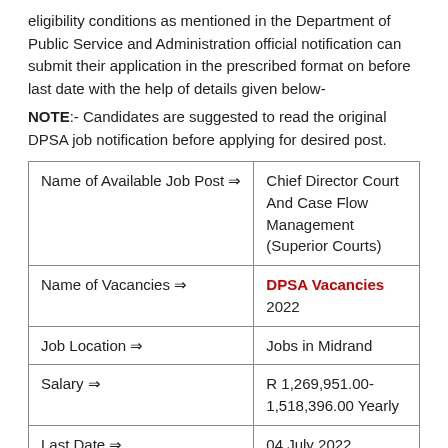eligibility conditions as mentioned in the Department of Public Service and Administration official notification can submit their application in the prescribed format on before last date with the help of details given below-
NOTE:- Candidates are suggested to read the original DPSA job notification before applying for desired post.
| Name of Available Job Post ⇒ | Chief Director Court And Case Flow Management (Superior Courts) |
| Name of Vacancies ⇒ | DPSA Vacancies 2022 |
| Job Location ⇒ | Jobs in Midrand |
| Salary ⇒ | R 1,269,951.00-1,518,396.00 Yearly |
| Last Date ⇒ | 04 July 2022 |
DPSA Chief Director Court And Case Flow Management (Superior Courts)